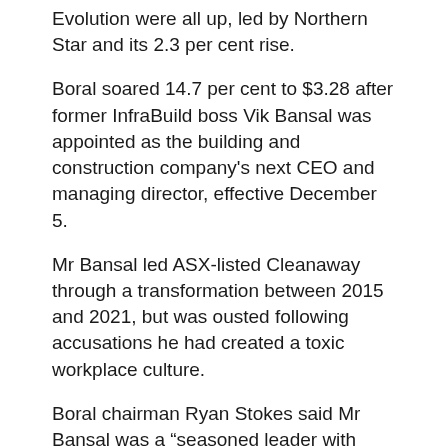Evolution were all up, led by Northern Star and its 2.3 per cent rise.
Boral soared 14.7 per cent to $3.28 after former InfraBuild boss Vik Bansal was appointed as the building and construction company's next CEO and managing director, effective December 5.
Mr Bansal led ASX-listed Cleanaway through a transformation between 2015 and 2021, but was ousted following accusations he had created a toxic workplace culture.
Boral chairman Ryan Stokes said Mr Bansal was a “seasoned leader with extensive experience, and has a track record of instilling discipline and efficiency in complex businesses to create value for all stakeholders”.
Atlas Arteria had climbed 16.2 per cent to a two-year high of $8.25 after IFM Investors’ Diamond Infraco took a 15 per cent stake in the toll road